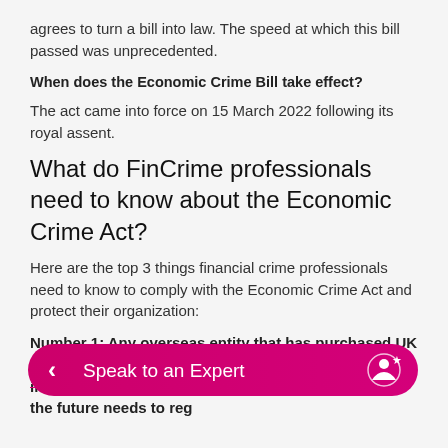agrees to turn a bill into law. The speed at which this bill passed was unprecedented.
When does the Economic Crime Bill take effect?
The act came into force on 15 March 2022 following its royal assent.
What do FinCrime professionals need to know about the Economic Crime Act?
Here are the top 3 things financial crime professionals need to know to comply with the Economic Crime Act and protect their organization:
Number 1: Any overseas entity that has purchased UK real estate in the past 20 years or will buy real estate in the future needs to reg[ister]
Gone are the days of trustees, nominee companies, and strawman owners purchasing high-end property without providing beneficial ownership information. With the
[Figure (other): Pink/magenta CTA button with back chevron, text 'Speak to an Expert', and user/star icon on the right]